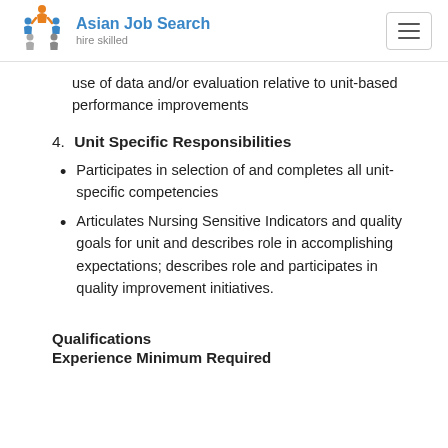Asian Job Search — hire skilled
use of data and/or evaluation relative to unit-based performance improvements
4. Unit Specific Responsibilities
Participates in selection of and completes all unit-specific competencies
Articulates Nursing Sensitive Indicators and quality goals for unit and describes role in accomplishing expectations; describes role and participates in quality improvement initiatives.
Qualifications
Experience Minimum Required